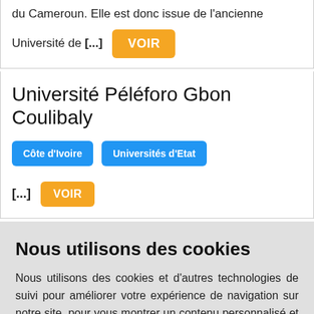du Cameroun. Elle est donc issue de l'ancienne
Université de [...] VOIR
Université Péléforo Gbon Coulibaly
Côte d'Ivoire   Universités d'Etat
[...] VOIR
Nous utilisons des cookies
Nous utilisons des cookies et d'autres technologies de suivi pour améliorer votre expérience de navigation sur notre site, pour vous montrer un contenu personnalisé et des